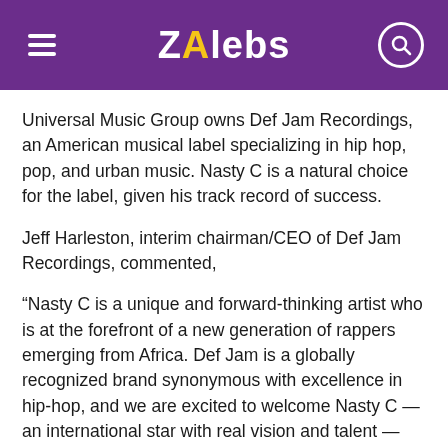ZAlebs
Universal Music Group owns Def Jam Recordings, an American musical label specializing in hip hop, pop, and urban music. Nasty C is a natural choice for the label, given his track record of success.
Jeff Harleston, interim chairman/CEO of Def Jam Recordings, commented,
“Nasty C is a unique and forward-thinking artist who is at the forefront of a new generation of rappers emerging from Africa. Def Jam is a globally recognized brand synonymous with excellence in hip-hop, and we are excited to welcome Nasty C — an international star with real vision and talent — into the family.”